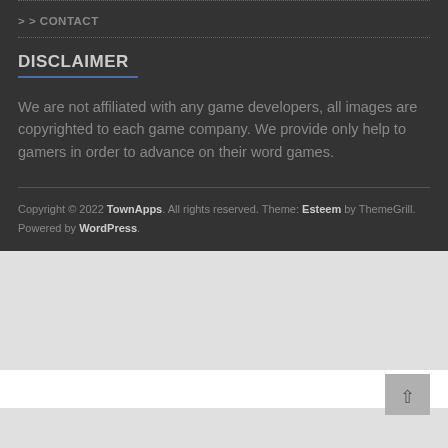> CONTACT
DISCLAIMER
We are not affiliated with any game developers, all images are copyrighted to each game company. We provide only help to gamers in order to advance on their word games.
Copyright © 2022 TownApps. All rights reserved. Theme: Esteem by ThemeGrill. Powered by WordPress.